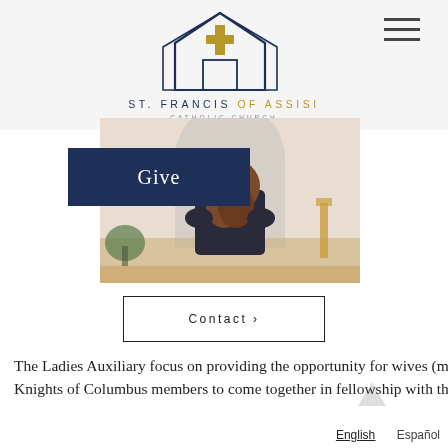[Figure (logo): St. Francis of Assisi Catholic Church logo — outlined church/house shape with a cross inside, in navy blue and gold]
ST. FRANCIS OF ASSISI
CATHOLIC CHURCH
[Figure (photo): Person with long hair seen from behind, sitting in a church pew facing the altar]
Give
Contact ›
The Ladies Auxiliary focus on providing the opportunity for wives (mothers, daughters, granddaughters, sisters, and widows) of Knights of Columbus members to come together in fellowship with the primary goal of
English   Español